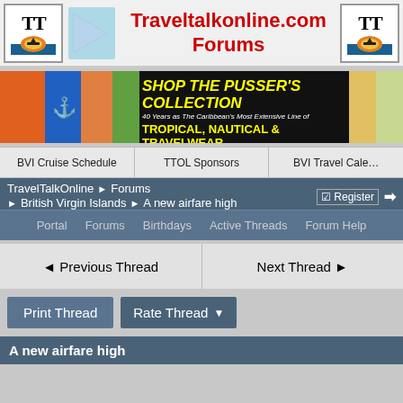[Figure (screenshot): Traveltalkonline.com Forums website header with logos, navigation tabs, breadcrumb trail, thread navigation, and buttons]
Traveltalkonline.com Forums
[Figure (photo): Ad banner: Shop The Pusser's Collection - Tropical, Nautical & Travelwear]
BVI Cruise Schedule | TTOL Sponsors | BVI Travel Cale...
TravelTalkOnline > Forums > British Virgin Islands > A new airfare high
Register
Portal | Forums | Birthdays | Active Threads | Forum Help
Previous Thread | Next Thread
Print Thread | Rate Thread
A new airfare high